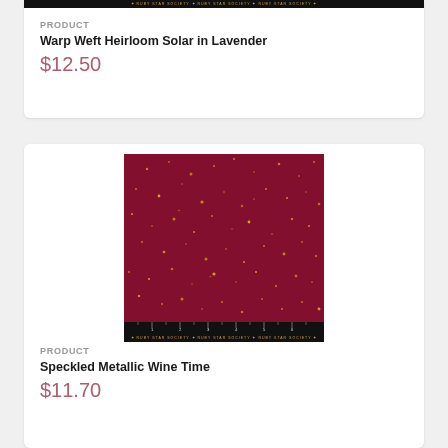[Figure (photo): Top of page showing partial ruler/brand strip from previous product card]
PRODUCT
Warp Weft Heirloom Solar in Lavender
$12.50
[Figure (photo): Dark maroon/wine-colored fabric with scattered metallic gold speckles, with a ruler and 'Ruby Star Society' branding at the bottom]
PRODUCT
Speckled Metallic Wine Time
$11.70